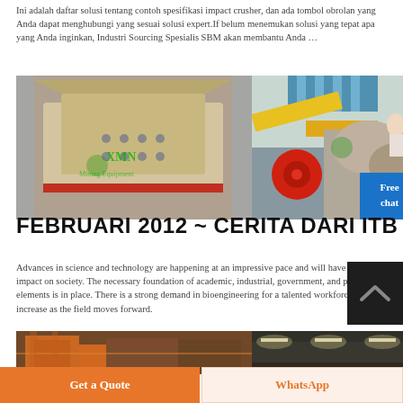Ini adalah daftar solusi tentang contoh spesifikasi impact crusher, dan ada tombol obrolan yang Anda dapat menghubungi yang sesuai solusi expert.If belum menemukan solusi yang tepat apa yang Anda inginkan, Industri Sourcing Spesialis SBM akan membantu Anda …
[Figure (photo): Two industrial impact crushers side by side in a factory setting]
FEBRUARI 2012 ~ CERITA DARI ITB
Advances in science and technology are happening at an impressive pace and will have a fu... impact on society. The necessary foundation of academic, industrial, government, and pub... elements is in place. There is a strong demand in bioengineering for a talented workforce, a... will increase as the field moves forward.
[Figure (photo): Industrial equipment and warehouse interior]
Get a Quote
WhatsApp